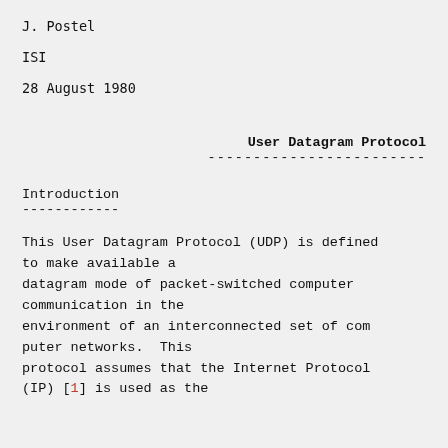J. Postel
ISI
28 August 1980
User Datagram Protocol
Introduction
This User Datagram Protocol (UDP) is defined to make available a datagram mode of packet-switched computer communication in the environment of an interconnected set of com puter networks.  This protocol assumes that the Internet Protocol (IP) [1] is used as the